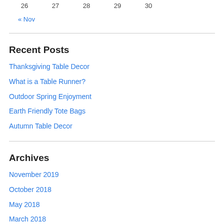26  27  28  29  30
« Nov
Recent Posts
Thanksgiving Table Decor
What is a Table Runner?
Outdoor Spring Enjoyment
Earth Friendly Tote Bags
Autumn Table Decor
Archives
November 2019
October 2018
May 2018
March 2018
October 2017